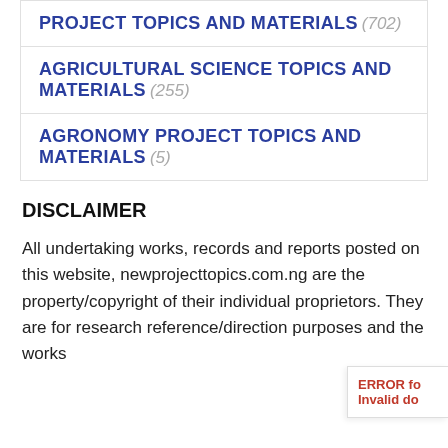PROJECT TOPICS AND MATERIALS (702)
AGRICULTURAL SCIENCE TOPICS AND MATERIALS (255)
AGRONOMY PROJECT TOPICS AND MATERIALS (5)
DISCLAIMER
All undertaking works, records and reports posted on this website, newprojecttopics.com.ng are the property/copyright of their individual proprietors. They are for research reference/direction purposes and the works